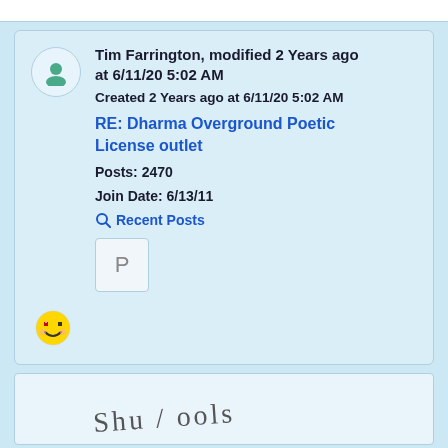Tim Farrington, modified 2 Years ago at 6/11/20 5:02 AM
Created 2 Years ago at 6/11/20 5:02 AM
RE: Dharma Overground Poetic License outlet
Posts: 2470
Join Date: 6/13/11
Recent Posts
[Figure (other): Letter P badge/icon in a box]
[Figure (other): Pixel smiley face emoji]
[Figure (other): Handwritten text at bottom of page, partially visible]